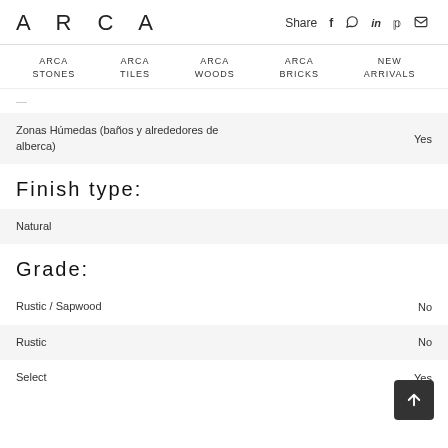ARCA   Share  f  (whatsapp)  in  p  (email)
ARCA STONES  ARCA TILES  ARCA WOODS  ARCA BRICKS  NEW ARRIVALS
| Zonas Húmedas (baños y alrededores de alberca) | Yes |
Finish type:
| Natural |  |
Grade:
| Rustic / Sapwood | No |
| Rustic | No |
| Select | Yes |